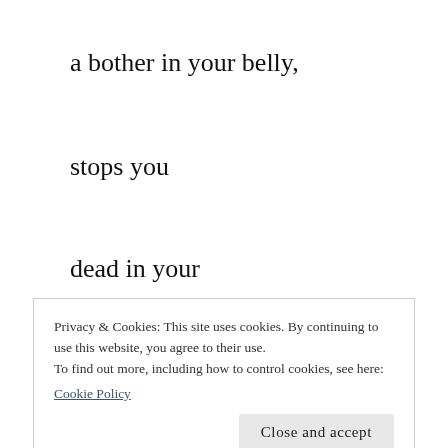a bother in your belly,
stops you
dead in your
tracks
Privacy & Cookies: This site uses cookies. By continuing to use this website, you agree to their use.
To find out more, including how to control cookies, see here:
Cookie Policy
Close and accept